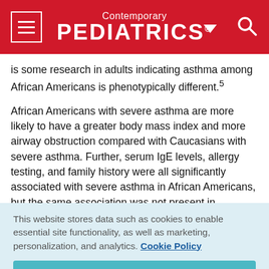Contemporary PEDIATRICS
is some research in adults indicating asthma among African Americans is phenotypically different.5
African Americans with severe asthma are more likely to have a greater body mass index and more airway obstruction compared with Caucasians with severe asthma. Further, serum IgE levels, allergy testing, and family history were all significantly associated with severe asthma in African Americans, but the same association was not present in
This website stores data such as cookies to enable essential site functionality, as well as marketing, personalization, and analytics. Cookie Policy
Accept
Deny